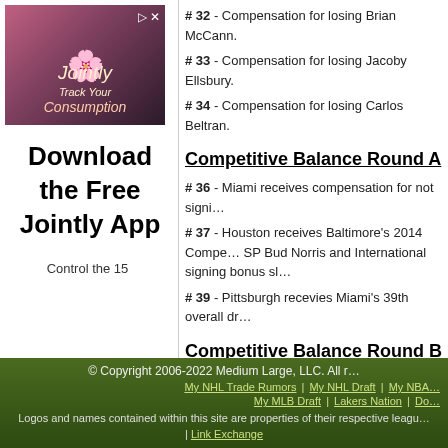[Figure (illustration): Advertisement for 'Jointly' app showing flower image and download prompt with 'Download the Free Jointly App' text and 'Control the 15' text at bottom]
# 32 - Compensation for losing Brian McCann.
# 33 - Compensation for losing Jacoby Ellsbury.
# 34 - Compensation for losing Carlos Beltran.
Competitive Balance Round A
# 36 - Miami receives compensation for not signin...
# 37 - Houston receives Baltimore's 2014 Compe... SP Bud Norris and International signing bonus slo...
# 39 - Pittsburgh recevies Miami's 39th overall dra...
Competitive Balance Round B
# 69 Arizona receives San Diego's 2014 compens... for SP Ian Kennedy.
and we'll post it. Credit will be given to the author...
Connor Joe Videos
© Copyright 2006-2022 Medium Large, LLC. All r... My NHL Trade Rumors | My NHL Draft | My NBA... My MLB Draft | Lakers Nation | Do... Logos and names contained within this site are properties of their respective leagu... | Link Exchange